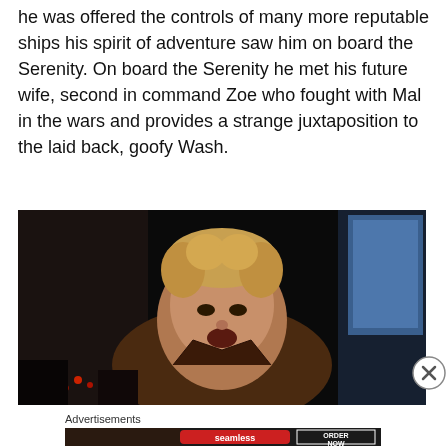he was offered the controls of many more reputable ships his spirit of adventure saw him on board the Serenity. On board the Serenity he met his future wife, second in command Zoe who fought with Mal in the wars and provides a strange juxtaposition to the laid back, goofy Wash.
[Figure (photo): A man with curly blond hair sitting in what appears to be a spaceship cockpit, mouth slightly open, wearing a brown jacket, in a dark environment with blue screens visible in the background.]
Advertisements
[Figure (photo): Advertisement for Seamless food delivery service showing pizza on the left, the Seamless logo in red, and an 'ORDER NOW' button on the right with a dark background.]